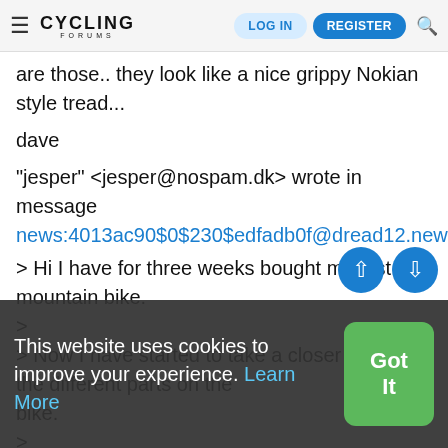CYCLING FORUMS — LOG IN | REGISTER
are those.. they look like a nice grippy Nokian style tread...
dave
"jesper" <jesper@nospam.dk> wrote in message news:4013ac90$0$230$edfadb0f@dread12.news.tele.dk...
> Hi I have for three weeks bought my first mountain bike.
>
> Now I have started to take a closer look at the different parts on the bike.
>
> [partially obscured text] have wrong direction.
This
> is where you can help me